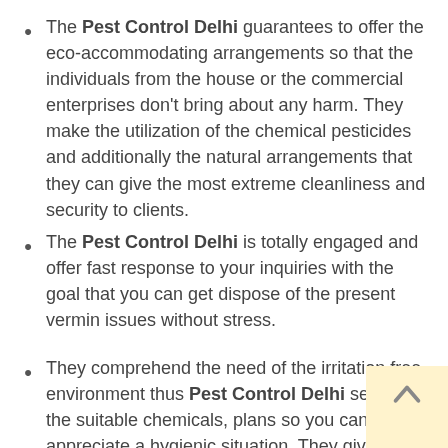The Pest Control Delhi guarantees to offer the eco-accommodating arrangements so that the individuals from the house or the commercial enterprises don't bring about any harm. They make the utilization of the chemical pesticides and additionally the natural arrangements that they can give the most extreme cleanliness and security to clients.
The Pest Control Delhi is totally engaged and offer fast response to your inquiries with the goal that you can get dispose of the present vermin issues without stress.
They comprehend the need of the irritation free environment thus Pest Control Delhi selects the suitable chemicals, plans so you can appreciate a hygienic situation. They give you ensured administration to your vermin issues and deal with bugs of